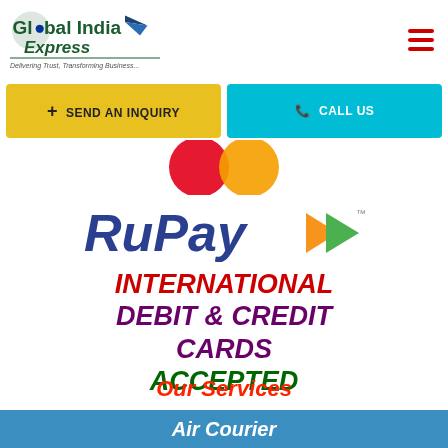[Figure (logo): Global India Express logo with airplane icon and tagline 'Delivering Trust, Transforming Business...']
+ SEND AN INQUIRY
CALL US
[Figure (logo): Mastercard logo - partial red and orange overlapping circles]
[Figure (logo): RuPay logo with orange and green arrow marks]
INTERNATIONAL DEBIT & CREDIT CARDS ACCEPTED
Our Services
Air Courier